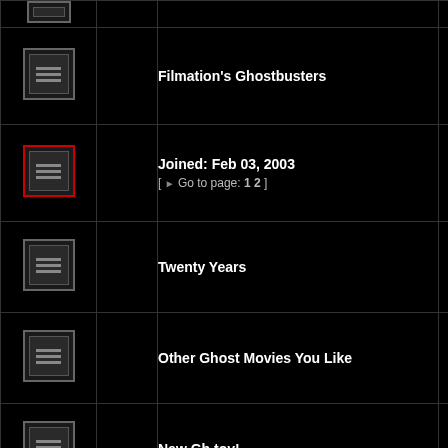| Icon |  | Topic | Last Post |
| --- | --- | --- | --- |
| [icon] |  | Filmation's Ghostbusters |  |
| [icon-red] |  | Joined: Feb 03, 2003 [ Go to page: 1 2 ] |  |
| [icon] |  | Twenty Years |  |
| [icon] |  | Other Ghost Movies You Like | Pet... |
| [icon] |  | New Gb toy! | M... |
| [icon] |  | Not a good day, car-wise | M... |
| [icon] |  | New TMNT Show: Rise of the Teenage Mutant Ninja Turtles |  |
| [icon-red] |  | Doctor Who [ Go to page: 1 2 3 ] |  |
| [icon] |  | Not entirely sure if this is in teh rigth place but.. | ghos... |
| [icon] |  | Worst School Year Ever | Su... |
| [icon] |  | Favourite Pairings! |  |